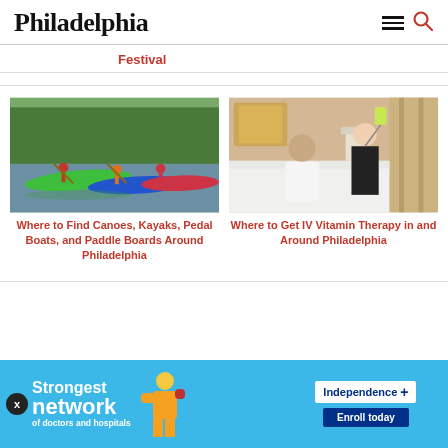Philadelphia
Festival
[Figure (photo): People kayaking on a river with colorful kayaks (green, blue, red/pink) with trees in background]
Where to Find Canoes, Kayaks, Pedal Boats, and Paddle Boards Around Philadelphia
[Figure (photo): A woman in a white robe sitting on a hotel bed receiving IV vitamin therapy from a medical professional in black uniform]
Where to Get IV Vitamin Therapy in and Around Philadelphia
[Figure (infographic): Independence Blue Cross advertisement: Strongest network of doctors and hospitals - Enroll today. Features woman in yellow outfit boxing.]